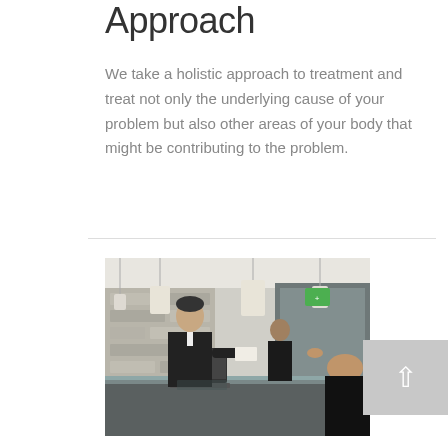Approach
We take a holistic approach to treatment and treat not only the underlying cause of your problem but also other areas of your body that might be contributing to the problem.
[Figure (photo): A man in a black suit at a modern clinic reception desk handing papers to another person, with pendant lights, stone wall, and glass partition visible in the background.]